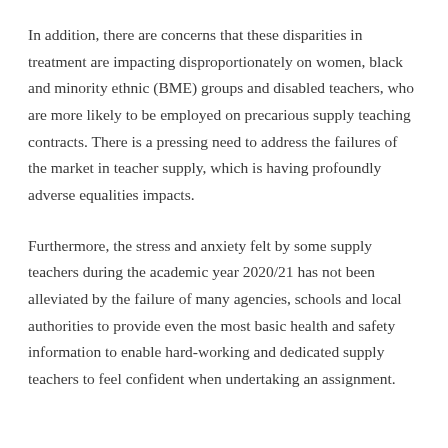In addition, there are concerns that these disparities in treatment are impacting disproportionately on women, black and minority ethnic (BME) groups and disabled teachers, who are more likely to be employed on precarious supply teaching contracts. There is a pressing need to address the failures of the market in teacher supply, which is having profoundly adverse equalities impacts.
Furthermore, the stress and anxiety felt by some supply teachers during the academic year 2020/21 has not been alleviated by the failure of many agencies, schools and local authorities to provide even the most basic health and safety information to enable hard-working and dedicated supply teachers to feel confident when undertaking an assignment.